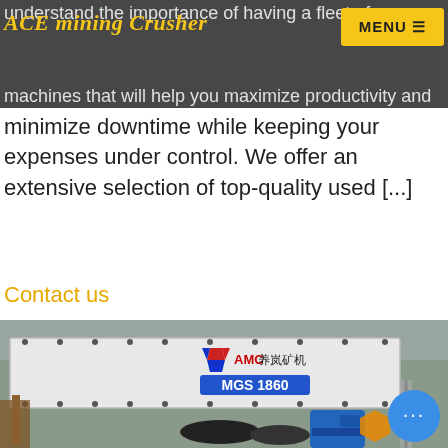ACE mining Crusher
understand the importance of having a fleet of reliable machines that will help you maximize productivity and minimize downtime while keeping your expenses under control. We offer an extensive selection of top-quality used [...]
Contact us
[Figure (photo): Close-up photograph of a mining vibrating screen machine labeled 'AMC 养岚矿机 MGS 1860' with blue motor visible, industrial equipment with bolted white metal housing and springs]